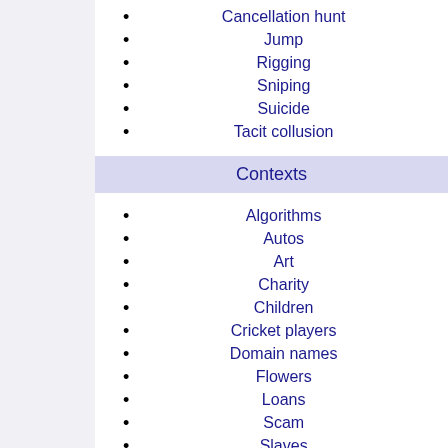Cancellation hunt
Jump
Rigging
Sniping
Suicide
Tacit collusion
Contexts
Algorithms
Autos
Art
Charity
Children
Cricket players
Domain names
Flowers
Loans
Scam
Slaves
Spectrum